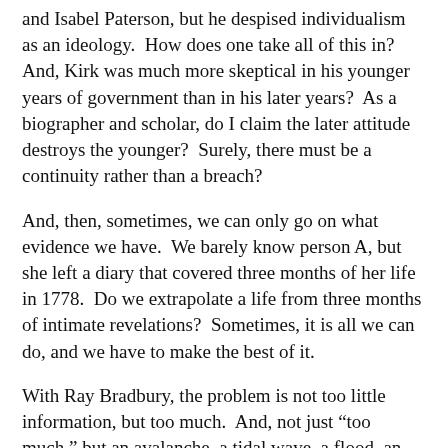and Isabel Paterson, but he despised individualism as an ideology.  How does one take all of this in?  And, Kirk was much more skeptical in his younger years of government than in his later years?  As a biographer and scholar, do I claim the later attitude destroys the younger?  Surely, there must be a continuity rather than a breach?
And, then, sometimes, we can only go on what evidence we have.  We barely know person A, but she left a diary that covered three months of her life in 1778.  Do we extrapolate a life from three months of intimate revelations?  Sometimes, it is all we can do, and we have to make the best of it.
With Ray Bradbury, the problem is not too little information, but too much.  And, not just “too much,” but an avalanche, a tidal wave, a flood, an F5 tornado just having passed through the feed lot. . .